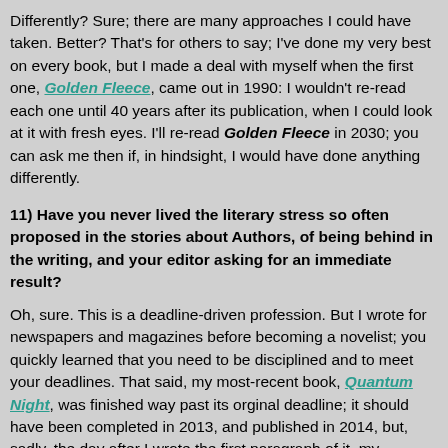Differently? Sure; there are many approaches I could have taken. Better? That's for others to say; I've done my very best on every book, but I made a deal with myself when the first one, Golden Fleece, came out in 1990: I wouldn't re-read each one until 40 years after its publication, when I could look at it with fresh eyes. I'll re-read Golden Fleece in 2030; you can ask me then if, in hindsight, I would have done anything differently.
11) Have you never lived the literary stress so often proposed in the stories about Authors, of being behind in the writing, and your editor asking for an immediate result?
Oh, sure. This is a deadline-driven profession. But I wrote for newspapers and magazines before becoming a novelist; you quickly learned that you need to be disciplined and to meet your deadlines. That said, my most-recent book, Quantum Night, was finished way past its orginal deadline; it should have been completed in 2013, and published in 2014, but, sadly, the day after I wrote the first paragraph of it, my younger brother Alan got in touch to say he was dying of lung cancer. When I told my editors — G Buchanan in New York and Adrienne Kerr in Toronto — that I wa...